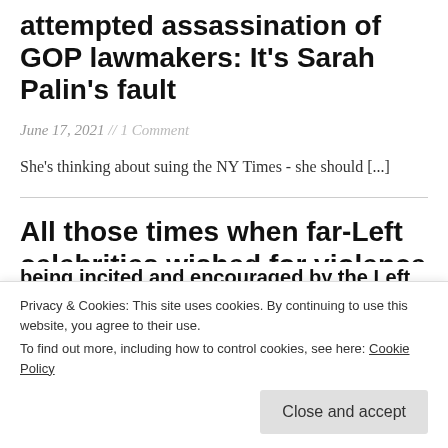attempted assassination of GOP lawmakers: It's Sarah Palin's fault
June 17, 2021 // 1 Comment
She's thinking about suing the NY Times - she should [...]
All those times when far-Left celebrities wished for violence against Trump and
being incited and encouraged by the Left,
Privacy & Cookies: This site uses cookies. By continuing to use this website, you agree to their use. To find out more, including how to control cookies, see here: Cookie Policy
Close and accept